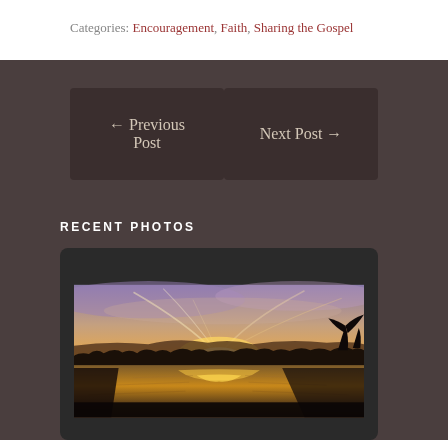Categories: Encouragement, Faith, Sharing the Gospel
← Previous Post
Next Post →
RECENT PHOTOS
[Figure (photo): A sunset landscape photo showing a lake or river with reflections of golden and purple sky, silhouetted trees along the horizon, displayed in a dark rounded frame]